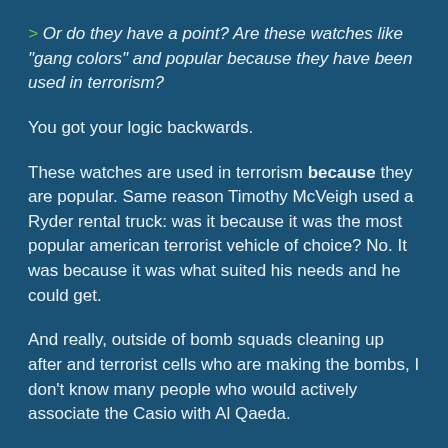> Or do they have a point? Are these watches like "gang colors" and popular because they have been used in terrorism?
You got your logic backwards.
These watches are used in terrorism because they are popular. Same reason Timothy McVeigh used a Ryder rental truck: was it because it was the most popular american terrorist vehicle of choice? No. It was because it was what suited his needs and he could get.
And really, outside of bomb squads cleaning up after and terrorist cells who are making the bombs, I don't know many people who would actively associate the Casio with Al Qaeda.
Think about this: You want to use the most common, easiest